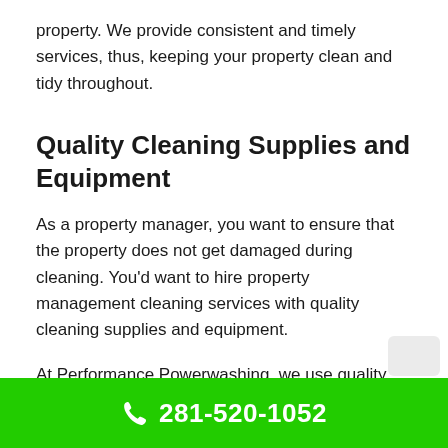property. We provide consistent and timely services, thus, keeping your property clean and tidy throughout.
Quality Cleaning Supplies and Equipment
As a property manager, you want to ensure that the property does not get damaged during cleaning. You’d want to hire property management cleaning services with quality cleaning supplies and equipment.
At Performance Powerwashing, we use quality
281-520-1052